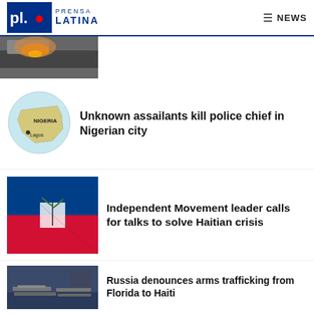Prensa Latina NEWS
[Figure (photo): Partially visible image at top of page, appears to show fire or explosion]
[Figure (map): Map showing Nigeria with Lagos marked, circular crop]
Unknown assailants kill police chief in Nigerian city
[Figure (photo): Haitian flag draped over something]
Independent Movement leader calls for talks to solve Haitian crisis
[Figure (photo): Weapons laid out on a blue table]
Russia denounces arms trafficking from Florida to Haiti